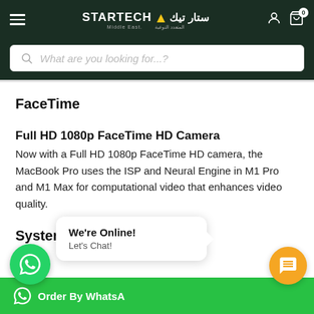[Figure (screenshot): Startech Middle East e-commerce website header with hamburger menu, logo (STARTECH with Arabic text ستار تيك), user icon, and cart icon showing 0 items]
What are you looking for...?
FaceTime
Full HD 1080p FaceTime HD Camera
Now with a Full HD 1080p FaceTime HD camera, the MacBook Pro uses the ISP and Neural Engine in M1 Pro and M1 Max for computational video that enhances video quality.
System Navigation
We're Online! Let's Chat!
Order By WhatsA...